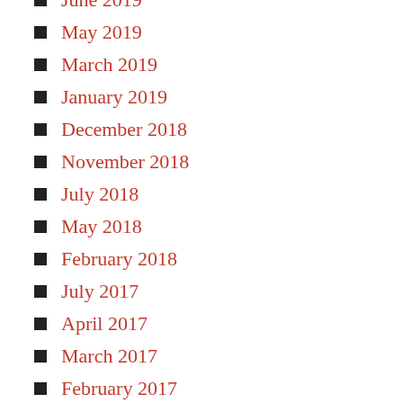June 2019
May 2019
March 2019
January 2019
December 2018
November 2018
July 2018
May 2018
February 2018
July 2017
April 2017
March 2017
February 2017